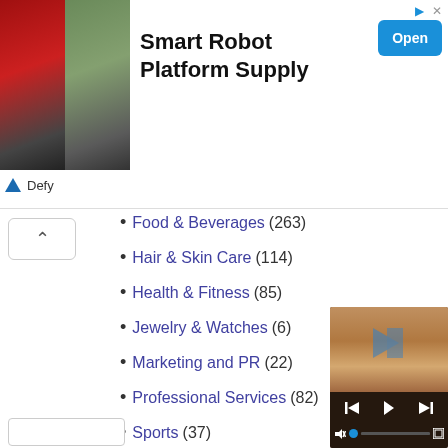[Figure (screenshot): Advertisement banner for Smart Robot Platform Supply with two robot images on left, bold title text, Open button, and Defy logo/source text.]
Food & Beverages (263)
Hair & Skin Care (114)
Health & Fitness (85)
Jewelry & Watches (6)
Marketing and PR (22)
Professional Services (82)
Sports (37)
Tech…
Tou…
Tran…
[Figure (screenshot): Video player overlay showing a woman's face with playback controls including skip back, play/pause, skip forward buttons and a progress bar with mute and fullscreen icons.]